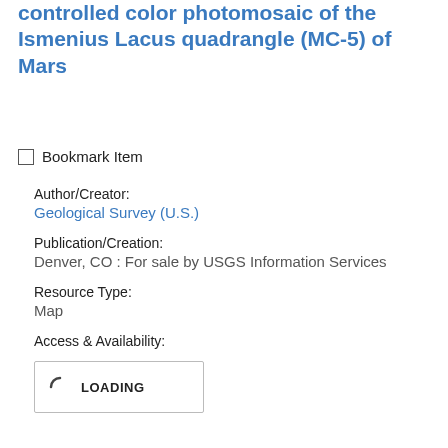controlled color photomosaic of the Ismenius Lacus quadrangle (MC-5) of Mars
Bookmark Item
Author/Creator:
Geological Survey (U.S.)
Publication/Creation:
Denver, CO : For sale by USGS Information Services
Resource Type:
Map
Access & Availability:
[Figure (other): Loading indicator box with spinner icon and LOADING text]